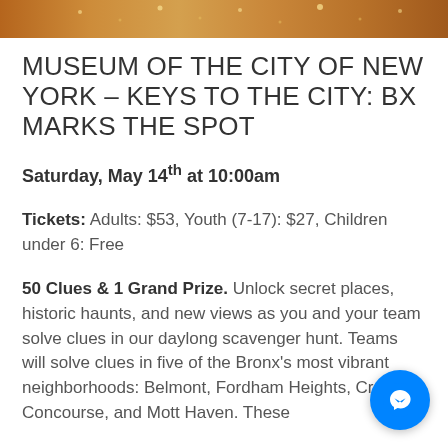[Figure (photo): Top banner image showing interior of museum with warm amber/gold tones, appears to be a grand hall or exhibition space]
MUSEUM OF THE CITY OF NEW YORK – KEYS TO THE CITY: BX MARKS THE SPOT
Saturday, May 14th at 10:00am
Tickets: Adults: $53, Youth (7-17): $27, Children under 6: Free
50 Clues & 1 Grand Prize. Unlock secret places, historic haunts, and new views as you and your team solve clues in our daylong scavenger hunt. Teams will solve clues in five of the Bronx's most vibrant neighborhoods: Belmont, Fordham Heights, Crotona, Concourse, and Mott Haven. These